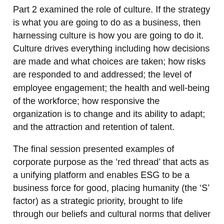Part 2 examined the role of culture. If the strategy is what you are going to do as a business, then harnessing culture is how you are going to do it. Culture drives everything including how decisions are made and what choices are taken; how risks are responded to and addressed; the level of employee engagement; the health and well-being of the workforce; how responsive the organization is to change and its ability to adapt; and the attraction and retention of talent.
The final session presented examples of corporate purpose as the ‘red thread’ that acts as a unifying platform and enables ESG to be a business force for good, placing humanity (the ‘S’ factor) as a strategic priority, brought to life through our beliefs and cultural norms that deliver responsible business outcomes, and elevates purpose to beyond words into tangible action and sustainable impact.
You can find links to all three webinar recordings here